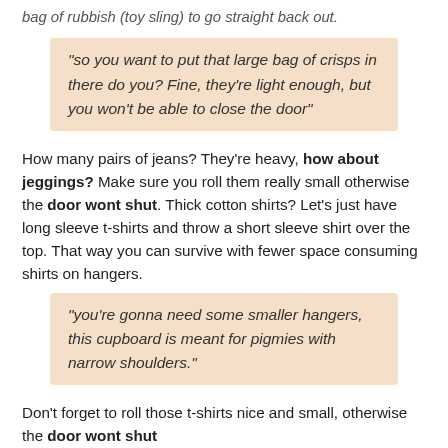"so you want to put that large bag of crisps in there do you? Fine, they're light enough, but you won't be able to close the door"
How many pairs of jeans? They're heavy, how about jeggings? Make sure you roll them really small otherwise the door wont shut. Thick cotton shirts? Let's just have long sleeve t-shirts and throw a short sleeve shirt over the top. That way you can survive with fewer space consuming shirts on hangers.
"you're gonna need some smaller hangers, this cupboard is meant for pigmies with narrow shoulders."
Don't forget to roll those t-shirts nice and small, otherwise the door wont shut
One coat, not six. One pair of boots, not three. Maxi dress? Ha ha ha. You want jumpers? You can have two, and make